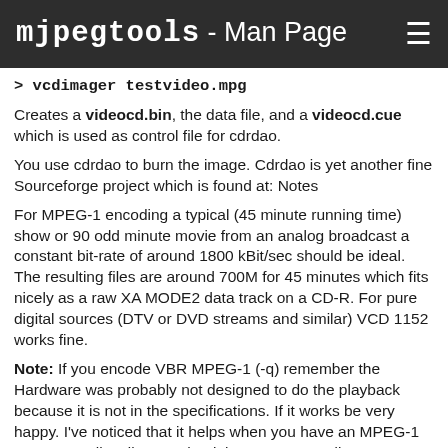mjpegtools - Man Page
> vcdimager testvideo.mpg
Creates a videocd.bin, the data file, and a videocd.cue which is used as control file for cdrdao.
You use cdrdao to burn the image. Cdrdao is yet another fine Sourceforge project which is found at: Notes
For MPEG-1 encoding a typical (45 minute running time) show or 90 odd minute movie from an analog broadcast a constant bit-rate of around 1800 kBit/sec should be ideal. The resulting files are around 700M for 45 minutes which fits nicely as a raw XA MODE2 data track on a CD-R. For pure digital sources (DTV or DVD streams and similar) VCD 1152 works fine.
Note: If you encode VBR MPEG-1 (-q) remember the Hardware was probably not designed to do the playback because it is not in the specifications. If it works be very happy. I've noticed that it helps when you have an MPEG-1 stream to tell vcdimager that it is an SVCD. vcdimager complains (but only with a warning and not a fatal error) but you should be able to burn it. This could convince the player